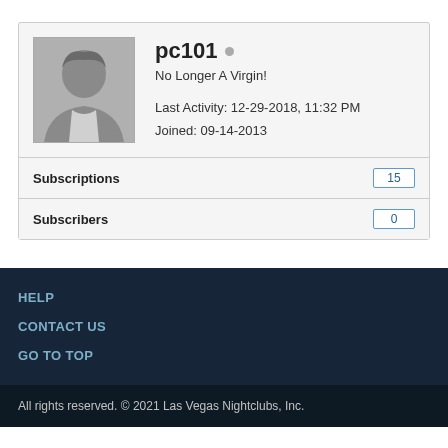pc101
No Longer A Virgin!
Last Activity: 12-29-2018, 11:32 PM
Joined: 09-14-2013
| Subscriptions | 15 |
| Subscribers | 0 |
HELP
CONTACT US
GO TO TOP
All rights reserved. © 2021 Las Vegas Nightclubs, Inc.